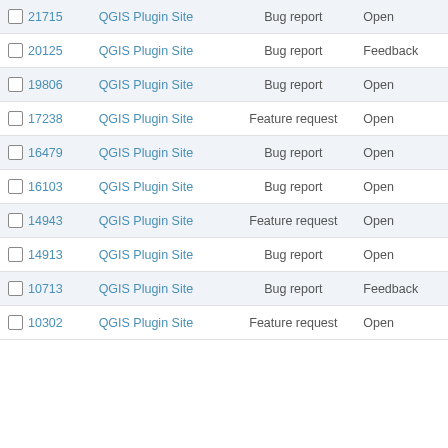|  | ID | Site | Type | Status |
| --- | --- | --- | --- | --- |
| ☐ | 21715 | QGIS Plugin Site | Bug report | Open |
| ☐ | 20125 | QGIS Plugin Site | Bug report | Feedback |
| ☐ | 19806 | QGIS Plugin Site | Bug report | Open |
| ☐ | 17238 | QGIS Plugin Site | Feature request | Open |
| ☐ | 16479 | QGIS Plugin Site | Bug report | Open |
| ☐ | 16103 | QGIS Plugin Site | Bug report | Open |
| ☐ | 14943 | QGIS Plugin Site | Feature request | Open |
| ☐ | 14913 | QGIS Plugin Site | Bug report | Open |
| ☐ | 10713 | QGIS Plugin Site | Bug report | Feedback |
| ☐ | 10302 | QGIS Plugin Site | Feature request | Open |